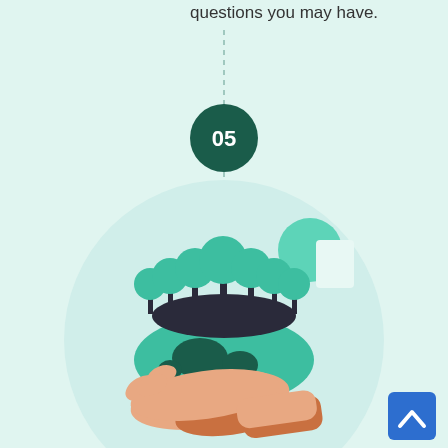questions you may have.
[Figure (illustration): A dark green circle badge with the number 05 in white text, connected by a vertical dashed line above and below. Below the dashed line is an illustration of a hand holding a globe/Earth with trees growing on top of it, and a teal sun/circle in the upper right area. The scene is set against a large light circular background. A blue square button with an upward chevron arrow appears in the bottom right corner.]